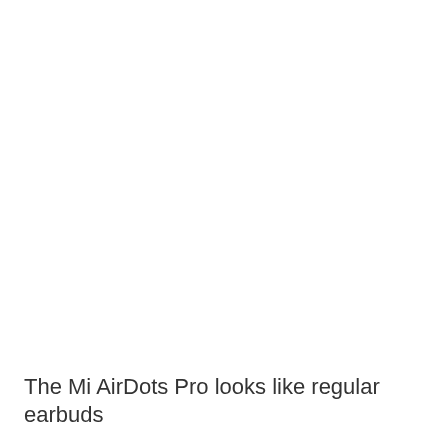The Mi AirDots Pro looks like regular earbuds